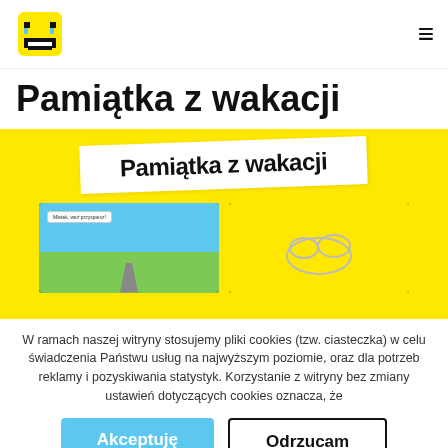Logo (laughing emoji pixel art) | hamburger menu icon
Pamiątka z wakacji
[Figure (screenshot): Yellow background hero image with white tilted banner reading 'Pamiątka z wakacji', and two screen/monitor cards below showing comic-style illustrations]
W ramach naszej witryny stosujemy pliki cookies (tzw. ciasteczka) w celu świadczenia Państwu usług na najwyższym poziomie, oraz dla potrzeb reklamy i pozyskiwania statystyk. Korzystanie z witryny bez zmiany ustawień dotyczących cookies oznacza, że
Akceptuję
Odrzucam
Czytaj więcej.